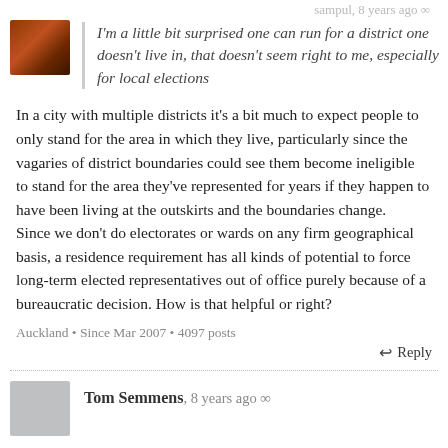sampul, 8 years ago ∞
I'm a little bit surprised one can run for a district one doesn't live in, that doesn't seem right to me, especially for local elections
In a city with multiple districts it's a bit much to expect people to only stand for the area in which they live, particularly since the vagaries of district boundaries could see them become ineligible to stand for the area they've represented for years if they happen to have been living at the outskirts and the boundaries change.
Since we don't do electorates or wards on any firm geographical basis, a residence requirement has all kinds of potential to force long-term elected representatives out of office purely because of a bureaucratic decision. How is that helpful or right?
Auckland • Since Mar 2007 • 4097 posts
↩ Reply
Tom Semmens, 8 years ago ∞